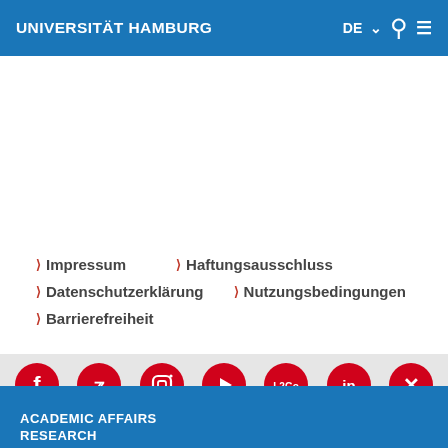UNIVERSITÄT HAMBURG
Impressum
Haftungsausschluss
Datenschutzerklärung
Nutzungsbedingungen
Barrierefreiheit
[Figure (infographic): Social media icons row: Facebook, Twitter, Instagram, YouTube, L2Go, LinkedIn, XING — all red circles with white icons]
ACADEMIC AFFAIRS
RESEARCH